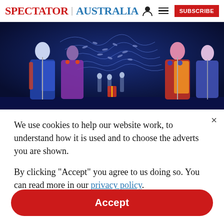SPECTATOR | AUSTRALIA
[Figure (photo): Stage performance photo showing performers in colorful costumes on a theatrical stage with blue lighting and decorative light patterns in the background.]
We use cookies to help our website work, to understand how it is used and to choose the adverts you are shown.
By clicking "Accept" you agree to us doing so. You can read more in our privacy policy.